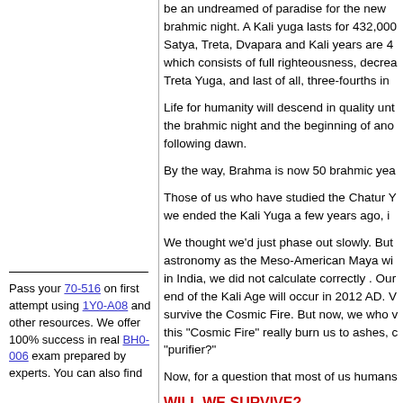be an undreamed of paradise for the new brahmic night. A Kali yuga lasts for 432,000 Satya, Treta, Dvapara and Kali years are 4 which consists of full righteousness, decrea Treta Yuga, and last of all, three-fourths in
Life for humanity will descend in quality unt the brahmic night and the beginning of ano following dawn.
By the way, Brahma is now 50 brahmic yea
Those of us who have studied the Chatur Y we ended the Kali Yuga a few years ago, i
We thought we'd just phase out slowly. But astronomy as the Meso-American Maya wi in India, we did not calculate correctly . Our end of the Kali Age will occur in 2012 AD. V survive the Cosmic Fire. But now, we who v this "Cosmic Fire" really burn us to ashes, c "purifier?"
Now, for a question that most of us humans
WILL WE SURVIVE?
Yes, we will. A human is not and has never I described in my article about Quetzalcoat
WHO WILL SAVE US?
Pass your 70-516 on first attempt using 1Y0-A08 and other resources. We offer 100% success in real BH0-006 exam prepared by experts. You can also find